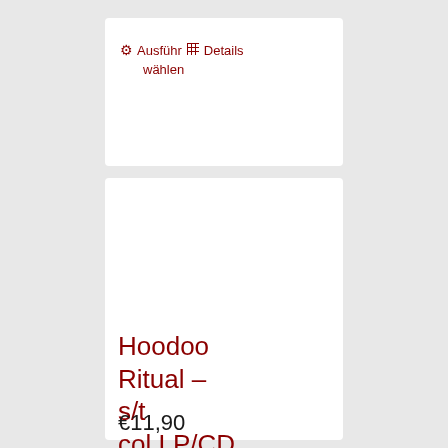Ausführungsdetails wählen
Hoodoo Ritual – s/t col.LP/CD (Ozium)
€11,90